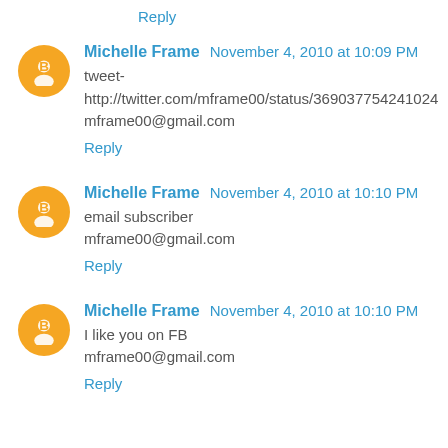Reply
Michelle Frame November 4, 2010 at 10:09 PM
tweet-http://twitter.com/mframe00/status/369037754241024
mframe00@gmail.com
Reply
Michelle Frame November 4, 2010 at 10:10 PM
email subscriber
mframe00@gmail.com
Reply
Michelle Frame November 4, 2010 at 10:10 PM
I like you on FB
mframe00@gmail.com
Reply